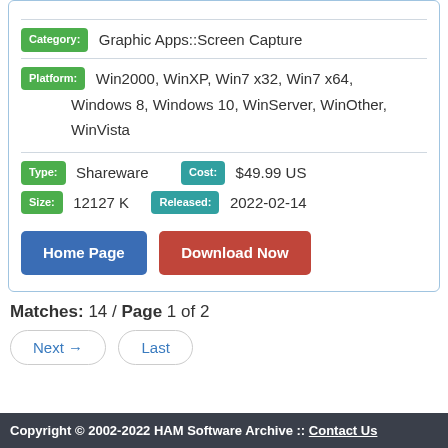Category: Graphic Apps::Screen Capture
Platform: Win2000, WinXP, Win7 x32, Win7 x64, Windows 8, Windows 10, WinServer, WinOther, WinVista
Type: Shareware   Cost: $49.99 US
Size: 12127 K   Released: 2022-02-14
Home Page   Download Now
Matches: 14 / Page 1 of 2
Next →   Last
Copyright © 2002-2022 HAM Software Archive :: Contact Us